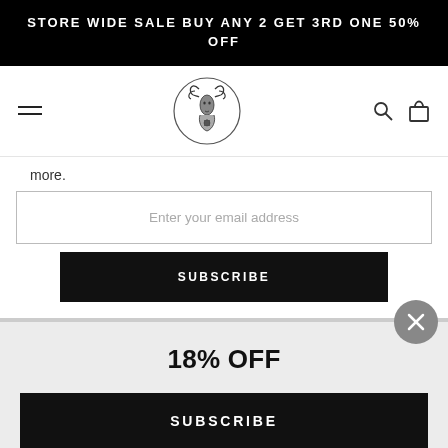STORE WIDE SALE BUY ANY 2 GET 3RD ONE 50% OFF
[Figure (logo): Circular logo with deer/stag illustration and decorative elements]
more.
Enter your email address
SUBSCRIBE
18% OFF
SUBSCRIBE